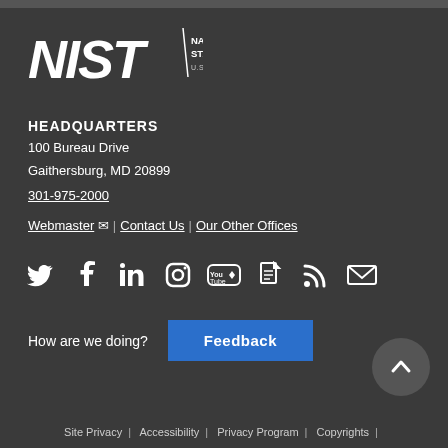[Figure (logo): NIST logo with text: National Institute of Standards and Technology, U.S. Department of Commerce]
HEADQUARTERS
100 Bureau Drive
Gaithersburg, MD 20899
301-975-2000
Webmaster | Contact Us | Our Other Offices
[Figure (infographic): Social media icons: Twitter, Facebook, LinkedIn, Instagram, YouTube, GovDelivery, RSS, Email]
How are we doing?  Feedback
Site Privacy | Accessibility | Privacy Program | Copyrights |